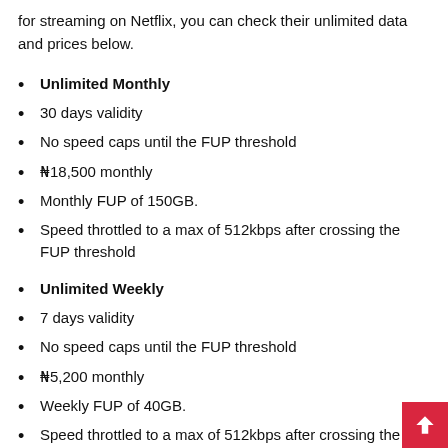for streaming on Netflix, you can check their unlimited data and prices below.
Unlimited Monthly
30 days validity
No speed caps until the FUP threshold
₦18,500 monthly
Monthly FUP of 150GB.
Speed throttled to a max of 512kbps after crossing the FUP threshold
Unlimited Weekly
7 days validity
No speed caps until the FUP threshold
₦5,200 monthly
Weekly FUP of 40GB.
Speed throttled to a max of 512kbps after crossing the FUP threshold